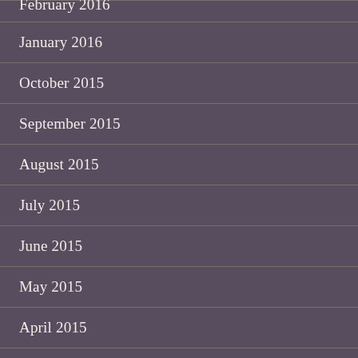February 2016
January 2016
October 2015
September 2015
August 2015
July 2015
June 2015
May 2015
April 2015